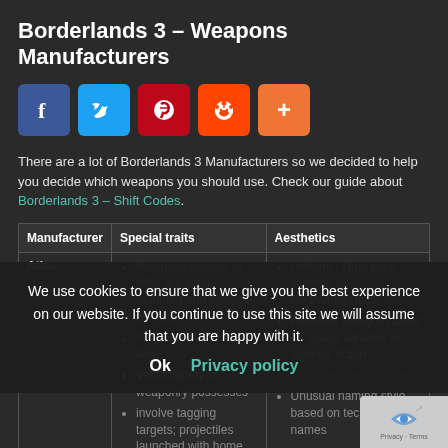Borderlands 3 – Weapons Manufacturers
[Figure (other): Social sharing buttons: Facebook, Twitter, Pinterest, Reddit, More (+)]
There are a lot of Borderlands 3 Manufacturers so we decided to help you decide which weapons you should use. Check our guide about Borderlands 3 – Shift Codes.
| Manufacturer | Special traits | Aesthetics |
| --- | --- | --- |
| Atlas | Weapons outside of rifles are wrist-mounted and joystick-operated; Projectiles tend to be slow; Vast majority of weaponry possesses involve tagging targets; projectiles launched with home onto enemies, allowing | Uniform / Dual color scheme of Red/White/Black; Futuristic designs based on space vehicles in science fiction; Fins that open up when; Unusual naming style based on tech code names |
We use cookies to ensure that we give you the best experience on our website. If you continue to use this site we will assume that you are happy with it.
Ok  Privacy policy